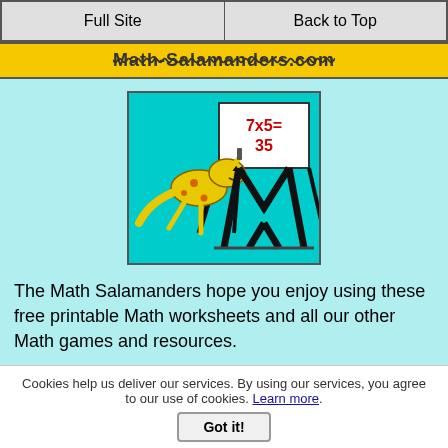Full Site | Back to Top
Math-Salamanders.com
[Figure (illustration): Math Salamanders logo: a yellow spotted salamander writing 7x5=35 on a whiteboard/easel, on a cyan background]
The Math Salamanders hope you enjoy using these free printable Math worksheets and all our other Math games and resources.
We welcome any comments about our site or worksheets on the Facebook comments box at the bottom of every page.
New! Comments
Have your say about the Math resources on this page! Leave me a comment in the box below.
Cookies help us deliver our services. By using our services, you agree to our use of cookies. Learn more. Got it!